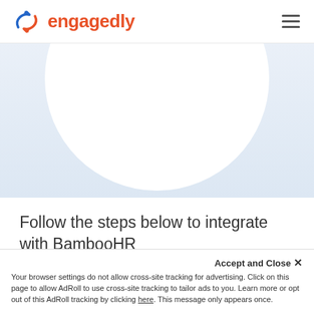engagedly
[Figure (illustration): Light blue hero area with a large white circle partially visible at top, creating a rounded decorative element against a blue-grey gradient background]
Follow the steps below to integrate with BambooHR
Accept and Close ×
Your browser settings do not allow cross-site tracking for advertising. Click on this page to allow AdRoll to use cross-site tracking to tailor ads to you. Learn more or opt out of this AdRoll tracking by clicking here. This message only appears once.